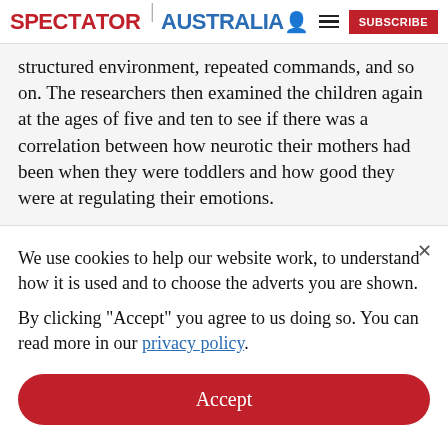SPECTATOR | AUSTRALIA
structured environment, repeated commands, and so on. The researchers then examined the children again at the ages of five and ten to see if there was a correlation between how neurotic their mothers had been when they were toddlers and how good they were at regulating their emotions.
We use cookies to help our website work, to understand how it is used and to choose the adverts you are shown.
By clicking "Accept" you agree to us doing so. You can read more in our privacy policy.
Accept